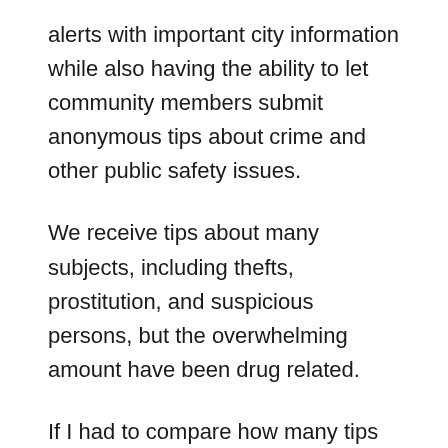alerts with important city information while also having the ability to let community members submit anonymous tips about crime and other public safety issues.
We receive tips about many subjects, including thefts, prostitution, and suspicious persons, but the overwhelming amount have been drug related.
If I had to compare how many tips we received in the last 5 years before tip411 it would not compare to the amount of tips we've received in just the past 4 or 5 months with tip411.